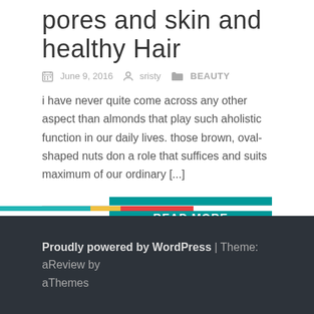pores and skin and healthy Hair
June 9, 2016   sristy   BEAUTY
i have never quite come across any other aspect than almonds that play such aholistic function in our daily lives. those brown, oval-shaped nuts don a role that suffices and suits maximum of our ordinary [...]
READ MORE
Proudly powered by WordPress | Theme: aReview by aThemes